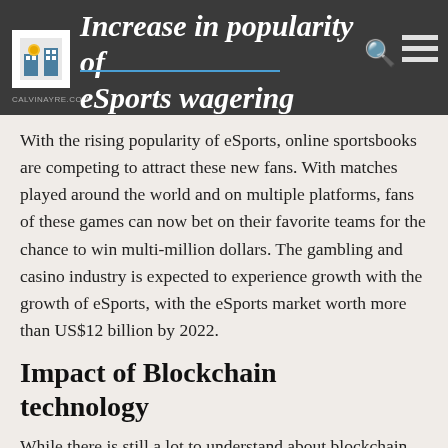Increase in popularity of eSports wagering
With the rising popularity of eSports, online sportsbooks are competing to attract these new fans. With matches played around the world and on multiple platforms, fans of these games can now bet on their favorite teams for the chance to win multi-million dollars. The gambling and casino industry is expected to experience growth with the growth of eSports, with the eSports market worth more than US$12 billion by 2022.
Impact of Blockchain technology
While there is still a lot to understand about blockchain technology, blockchain is expected for...